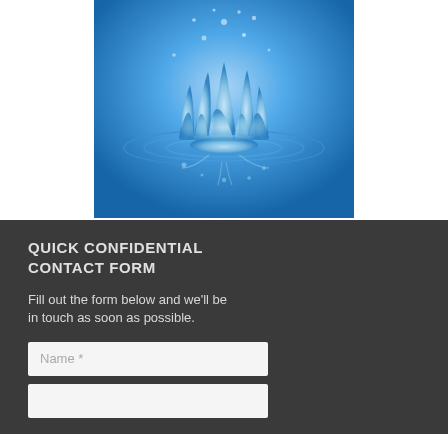[Figure (photo): A water splash photo showing a crown-shaped water drop splash against a blue background, with ripple rings below and water droplets in the air.]
QUICK CONFIDENTIAL CONTACT FORM
Fill out the form below and we'll be in touch as soon as possible.
Name *